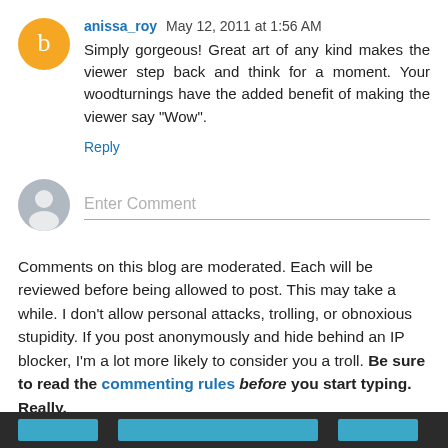anissa_roy May 12, 2011 at 1:56 AM
Simply gorgeous! Great art of any kind makes the viewer step back and think for a moment. Your woodturnings have the added benefit of making the viewer say "Wow".
Reply
[Figure (illustration): Gray user avatar silhouette placeholder for Enter Comment]
Enter Comment
Comments on this blog are moderated. Each will be reviewed before being allowed to post. This may take a while. I don't allow personal attacks, trolling, or obnoxious stupidity. If you post anonymously and hide behind an IP blocker, I'm a lot more likely to consider you a troll. Be sure to read the commenting rules before you start typing. Really.
Footer navigation bar